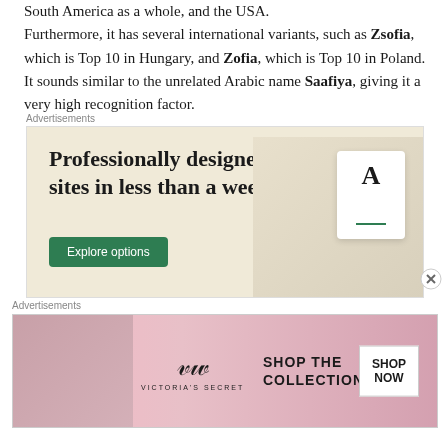South America as a whole, and the USA. Furthermore, it has several international variants, such as Zsofia, which is Top 10 in Hungary, and Zofia, which is Top 10 in Poland. It sounds similar to the unrelated Arabic name Saafiya, giving it a very high recognition factor.
Advertisements
[Figure (screenshot): Advertisement for professionally designed websites. Cream/beige background with text 'Professionally designed sites in less than a week', a green 'Explore options' button, and mock website screenshots on the right.]
Advertisements
[Figure (screenshot): Victoria's Secret advertisement with pink gradient background, model on left, VS logo in center, 'SHOP THE COLLECTION' text, and a white 'SHOP NOW' button on the right.]